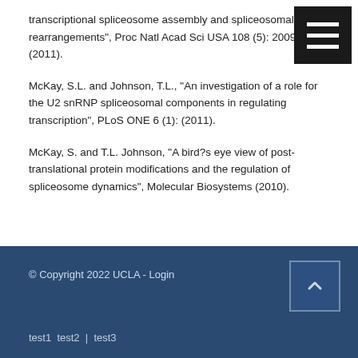transcriptional spliceosome assembly and spliceosomal rearrangements", Proc Natl Acad Sci USA 108 (5): 2009 (2011).
McKay, S.L. and Johnson, T.L., "An investigation of a role for the U2 snRNP spliceosomal components in regulating transcription", PLoS ONE 6 (1): (2011).
McKay, S. and T.L. Johnson, "A bird?s eye view of post-translational protein modifications and the regulation of spliceosome dynamics", Molecular Biosystems (2010).
© Copyright 2022 UCLA - Login
test1  test2  |  test3